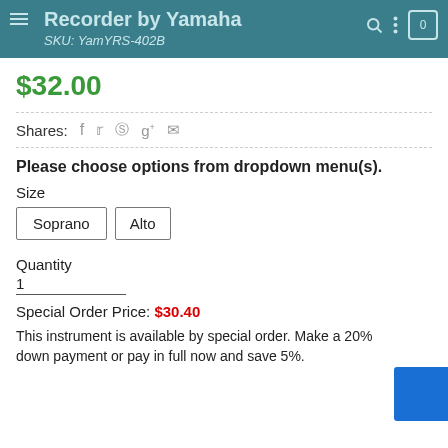Recorder by Yamaha SKU: YamYRS-402B
$32.00
Shares:
Please choose options from dropdown menu(s).
Size
Soprano   Alto
Quantity
1
Special Order Price: $30.40
This instrument is available by special order. Make a 20% down payment or pay in full now and save 5%.